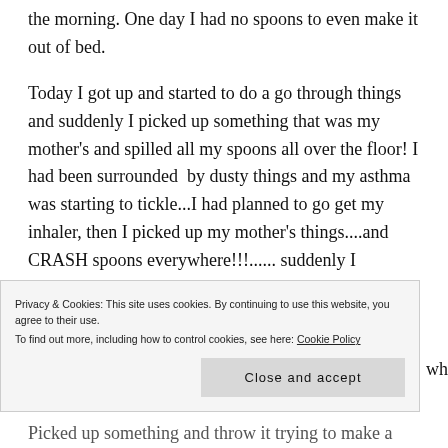the morning. One day I had no spoons to even make it out of bed.
Today I got up and started to do a go through things and suddenly I picked up something that was my mother’s and spilled all my spoons all over the floor! I had been surrounded by dusty things and my asthma was starting to tickle...I had planned to go get my inhaler, then I picked up my mother’s things....and CRASH spoons everywhere!!!...... suddenly I couldn’t breathe!
Privacy & Cookies: This site uses cookies. By continuing to use this website, you agree to their use. To find out more, including how to control cookies, see here: Cookie Policy
Close and accept
Picked up something and throw it trying to make a